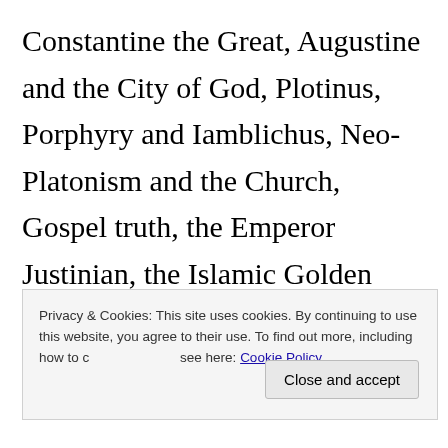Constantine the Great, Augustine and the City of God, Plotinus, Porphyry and Iamblichus, Neo-Platonism and the Church, Gospel truth, the Emperor Justinian, the Islamic Golden Age, Avicenna, Averroes, Charlemagne, the Schoolmen, Aquinas and Christian theology, the Inquisition, Martin Luther,
Privacy & Cookies: This site uses cookies. By continuing to use this website, you agree to their use. To find out more, including how to control cookies, see here: Cookie Policy